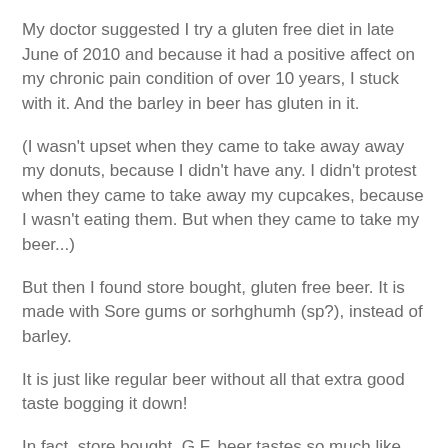My doctor suggested I try a gluten free diet in late June of 2010 and because it had a positive affect on my chronic pain condition of over 10 years, I stuck with it. And the barley in beer has gluten in it.
(I wasn't upset when they came to take away away my donuts, because I didn't have any. I didn't protest when they came to take away my cupcakes, because I wasn't eating them. But when they came to take my beer...)
But then I found store bought, gluten free beer. It is made with Sore gums or sorhghumh (sp?), instead of barley.
It is just like regular beer without all that extra good taste bogging it down!
In fact, store bought, G.F. beer tastes so much like real malted barley beer that I immediately became a huge fan. OF SCOTCH. (Scotch is also made with malted barley, but the distillation process removes all gluten.)
Then my friend Joseph, who has been brewing beer for